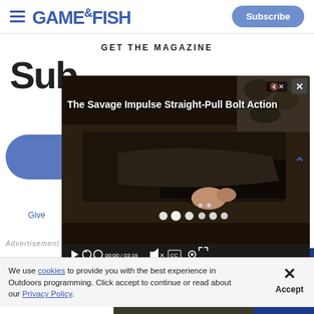GAME&FISH | Subscribe
GET THE MAGAZINE
Sub
[Figure (screenshot): Video player overlay showing 'The Savage Impulse Straight-Pull Bolt Action' video, with close-up of bolt-action rifle mechanism. Video controls showing 00:00 / 03:16 time display, muted icon, CC, settings buttons.]
Give
PREVIEW THIS MONTH'S ISSUE
We use cookies to provide you with the best experience in Outdoors programming. Click accept to continue or read about our Privacy Policy.
Advertisement
[Figure (photo): CCI advertisement banner with logo, rifle image, and 'SHOOT TO THRILL' text on blue background]